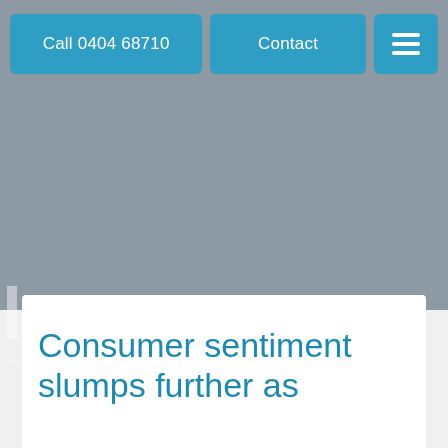Call 0404 68710 | Contact | Menu
[Figure (screenshot): Gray hero banner with large faded text 'lews' (part of 'News') and dotted underline decoration]
Consumer sentiment slumps further as